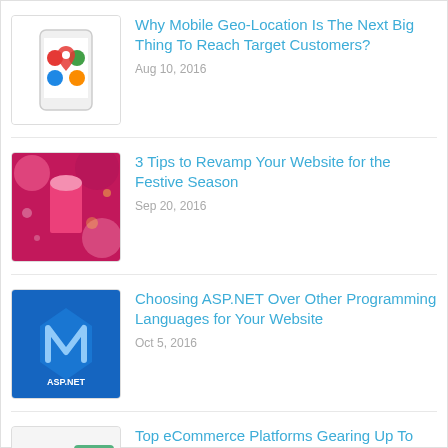Why Mobile Geo-Location Is The Next Big Thing To Reach Target Customers? Aug 10, 2016
3 Tips to Revamp Your Website for the Festive Season Sep 20, 2016
Choosing ASP.NET Over Other Programming Languages for Your Website Oct 5, 2016
Top eCommerce Platforms Gearing Up To Rule the Market in 2017 Oct 20, 2016